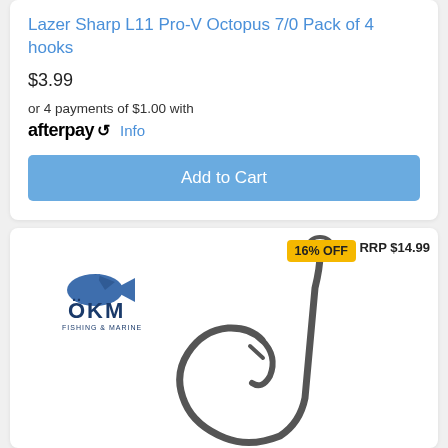Lazer Sharp L11 Pro-V Octopus 7/0 Pack of 4 hooks
$3.99
or 4 payments of $1.00 with afterpay Info
Add to Cart
[Figure (photo): Product image of a fishing hook (Lazer Sharp L11 Pro-V Octopus 7/0) with OKM Fishing & Marine logo, 16% OFF badge, and RRP $14.99 label]